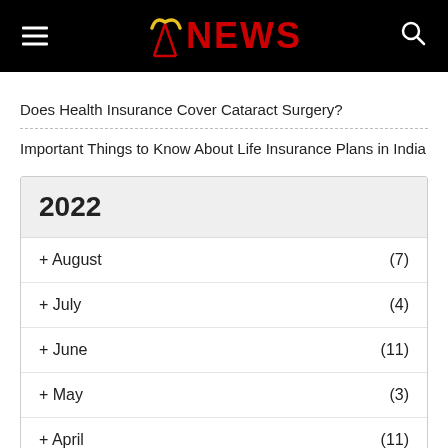NEWS
Does Health Insurance Cover Cataract Surgery?
Important Things to Know About Life Insurance Plans in India
2022
+ August (7)
+ July (4)
+ June (11)
+ May (3)
+ April (11)
+ March (11)
+ February (7)